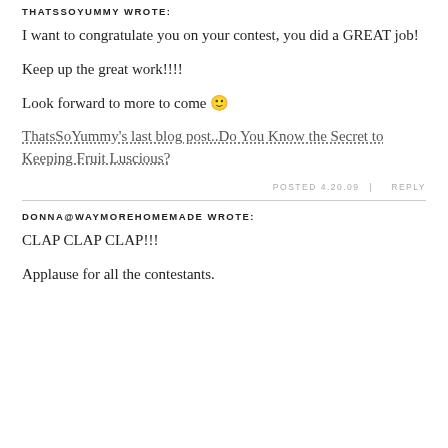THATSSOYUMMY WROTE:
I want to congratulate you on your contest, you did a GREAT job!
Keep up the great work!!!!
Look forward to more to come 🙂
ThatsSoYummy's last blog post..Do You Know the Secret to Keeping Fruit Luscious?
POSTED 4.20.09  |  REPLY
DONNA@WAYMOREHOMEMADE WROTE:
CLAP CLAP CLAP!!!
Applause for all the contestants.